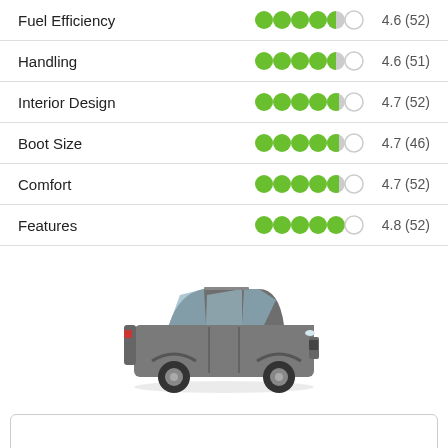Fuel Efficiency 4.6 (52)
Handling 4.6 (51)
Interior Design 4.7 (52)
Boot Size 4.7 (46)
Comfort 4.7 (52)
Features 4.8 (52)
[Figure (illustration): SsangYong Rexton SUV car image, grey/silver color, front 3/4 view]
SsangYong Rexton • includes 11 listings